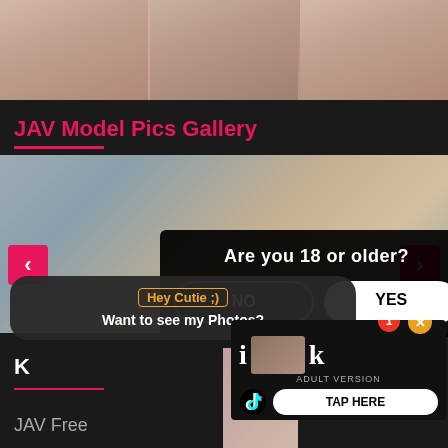[Figure (photo): Top banner showing adult content images, partially cropped]
JAV Model Pics Gallery
[Figure (photo): Gallery image of young woman lying on gray sofa with navigation arrows, overlaid by age verification modal asking 'Are you 18 or older?' with NO and YES buttons]
[Figure (screenshot): Chat popup overlay: 'Hey Cutie ;) Want to see my Photos?' in dark rounded box]
[Figure (screenshot): Ad banner bottom right: iOk Adult Version with TikTok logo and TAP HERE button, notification badge showing 1, close X button]
JAV Free